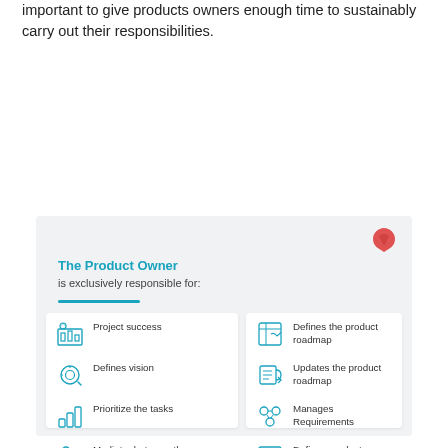important to give products owners enough time to sustainably carry out their responsibilities.
[Figure (infographic): Infographic box titled 'The Product Owner is exclusively responsible for:' with two white cards listing 12 responsibilities with teal icons: Project success, Defines vision, Prioritize the tasks, Mediator between the customer and Stakeholders, Organizes customer feedback, Provides feedback to the teams, Defines the product roadmap, Updates the product roadmap, Manages Requirements, Defines product attributes, Aligns with the team, Manage risk on a product level]